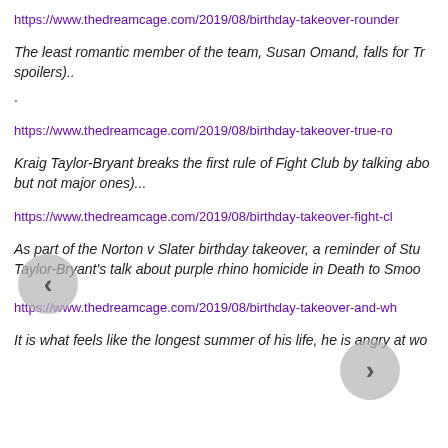https://www.thedreamcage.com/2019/08/birthday-takeover-rounder
The least romantic member of the team, Susan Omand, falls for Tr spoilers)..
.
https://www.thedreamcage.com/2019/08/birthday-takeover-true-ro
Kraig Taylor-Bryant breaks the first rule of Fight Club by talking abo but not major ones)...
https://www.thedreamcage.com/2019/08/birthday-takeover-fight-cl
As part of the Norton v Slater birthday takeover, a reminder of Stu Taylor-Bryant's talk about purple rhino homicide in Death to Smoo
https://www.thedreamcage.com/2019/08/birthday-takeover-and-wh
It is what feels like the longest summer of his life, he is angry at wo